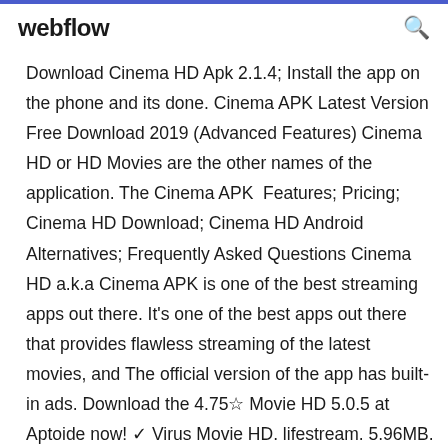webflow
Download Cinema HD Apk 2.1.4; Install the app on the phone and its done. Cinema APK Latest Version Free Download 2019 (Advanced Features) Cinema HD or HD Movies are the other names of the application. The Cinema APK  Features; Pricing; Cinema HD Download; Cinema HD Android Alternatives; Frequently Asked Questions Cinema HD a.k.a Cinema APK is one of the best streaming apps out there. It's one of the best apps out there that provides flawless streaming of the latest movies, and The official version of the app has built-in ads. Download the 4.75☆ Movie HD 5.0.5 at Aptoide now! ✓ Virus Movie HD. lifestream. 5.96MB. Download. " Downloads 50k - 250k. Version